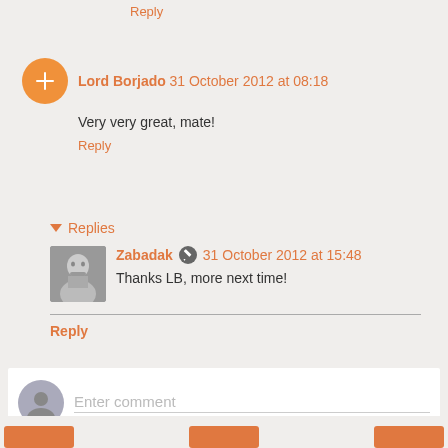Reply
Lord Borjado  31 October 2012 at 08:18
Very very great, mate!
Reply
Replies
Zabadak  31 October 2012 at 15:48
Thanks LB, more next time!
Reply
Enter comment